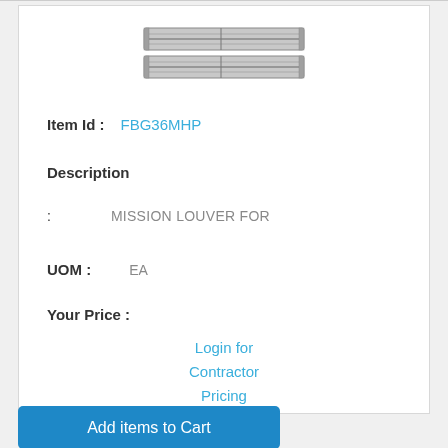[Figure (illustration): Product image of a mission louver, showing two horizontal rectangular vent grilles with parallel slats, stacked vertically.]
Item Id : FBG36MHP
Description
: MISSION LOUVER FOR
UOM : EA
Your Price :
Login for Contractor Pricing
Add items to Cart